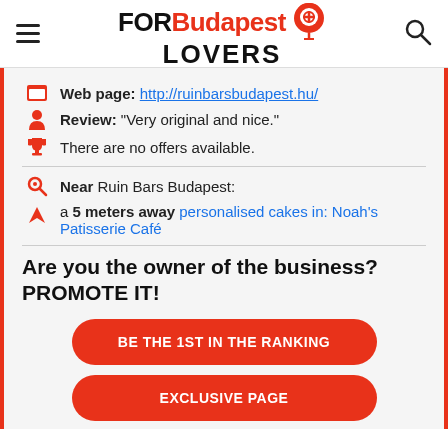FOR Budapest LOVERS
Web page: http://ruinbarsbudapest.hu/
Review: "Very original and nice."
There are no offers available.
Near Ruin Bars Budapest:
a 5 meters away personalised cakes in: Noah's Patisserie Café
Are you the owner of the business? PROMOTE IT!
BE THE 1ST IN THE RANKING
EXCLUSIVE PAGE